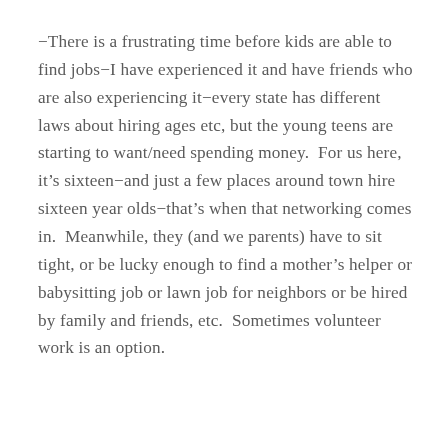-There is a frustrating time before kids are able to find jobs-I have experienced it and have friends who are also experiencing it-every state has different laws about hiring ages etc, but the young teens are starting to want/need spending money.  For us here, it's sixteen-and just a few places around town hire sixteen year olds-that's when that networking comes in.  Meanwhile, they (and we parents) have to sit tight, or be lucky enough to find a mother's helper or babysitting job or lawn job for neighbors or be hired by family and friends, etc.  Sometimes volunteer work is an option.